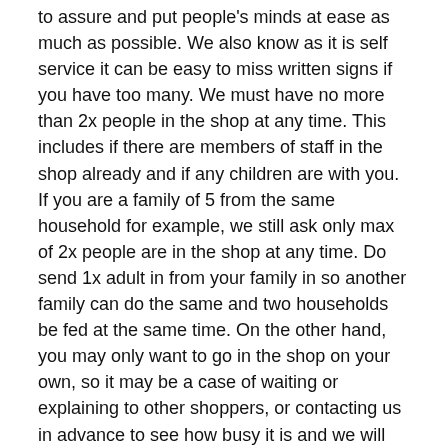to assure and put people's minds at ease as much as possible. We also know as it is self service it can be easy to miss written signs if you have too many. We must have no more than 2x people in the shop at any time. This includes if there are members of staff in the shop already and if any children are with you. If you are a family of 5 from the same household for example, we still ask only max of 2x people are in the shop at any time. Do send 1x adult in from your family in so another family can do the same and two households be fed at the same time. On the other hand, you may only want to go in the shop on your own, so it may be a case of waiting or explaining to other shoppers, or contacting us in advance to see how busy it is and we will be more than happy to help.
So, to reiterate, for the foreseeable future: